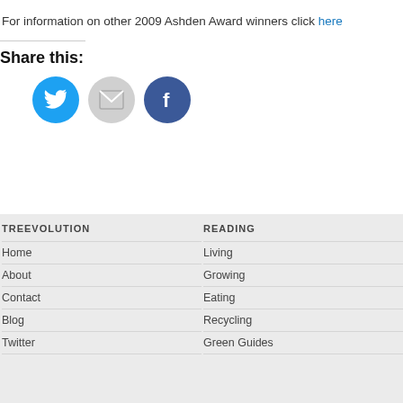For information on other 2009 Ashden Award winners click here
Share this:
[Figure (infographic): Three social sharing icons: Twitter (blue circle with bird), Email (gray circle with envelope), Facebook (dark blue circle with f logo)]
Home
About
Contact
Blog
Twitter
Living
Growing
Eating
Recycling
Green Guides